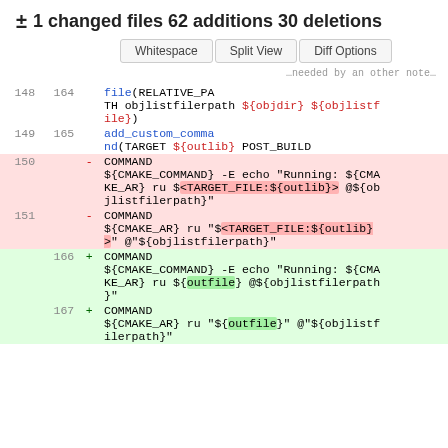± 1 changed files 62 additions 30 deletions
[Figure (screenshot): A code diff view showing CMake build script changes with line numbers, removed lines highlighted in red, and added lines highlighted in green. Buttons for Whitespace, Split View, and Diff Options are shown at top.]